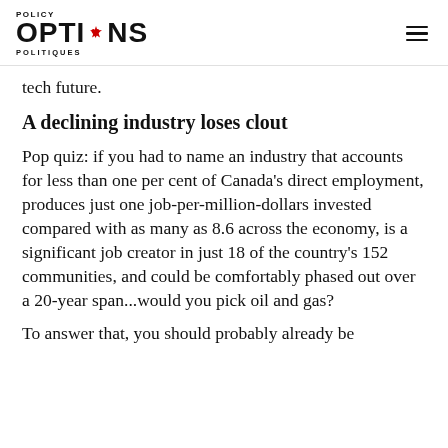POLICY OPTIONS POLITIQUES
tech future.
A declining industry loses clout
Pop quiz: if you had to name an industry that accounts for less than one per cent of Canada's direct employment, produces just one job-per-million-dollars invested compared with as many as 8.6 across the economy, is a significant job creator in just 18 of the country's 152 communities, and could be comfortably phased out over a 20-year span...would you pick oil and gas?
To answer that, you should probably already be...